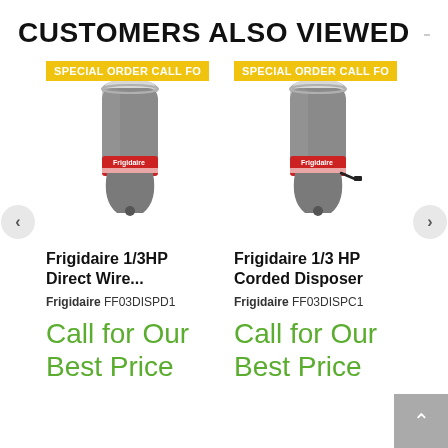CUSTOMERS ALSO VIEWED
[Figure (photo): Frigidaire 1/3HP garbage disposal unit with special order badge - direct wire model FF03DISPD1]
Frigidaire 1/3HP Direct Wire...
Frigidaire FF03DISPD1
Call for Our Best Price
[Figure (photo): Frigidaire 1/3HP garbage disposal unit with special order badge - corded model FF03DISPC1]
Frigidaire 1/3 HP Corded Disposer
Frigidaire FF03DISPC1
Call for Our Best Price